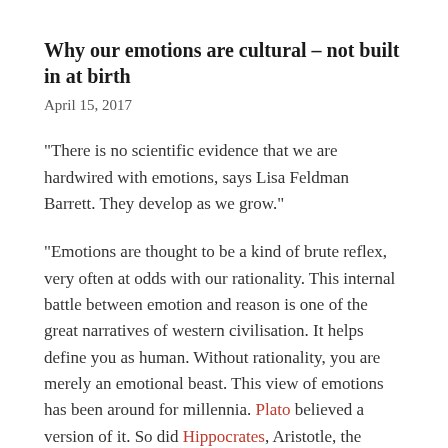Why our emotions are cultural – not built in at birth
April 15, 2017
“There is no scientific evidence that we are hardwired with emotions, says Lisa Feldman Barrett. They develop as we grow.”
“Emotions are thought to be a kind of brute reflex, very often at odds with our rationality. This internal battle between emotion and reason is one of the great narratives of western civilisation. It helps define you as human. Without rationality, you are merely an emotional beast. This view of emotions has been around for millennia. Plato believed a version of it. So did Hippocrates, Aristotle, the